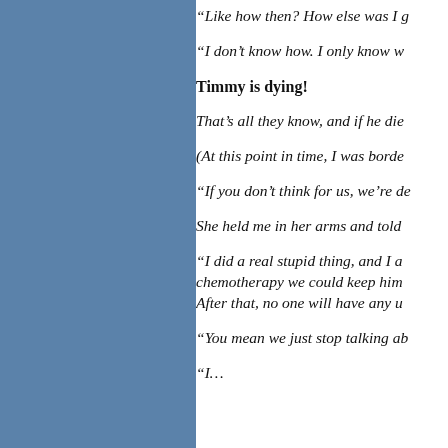“Like how then? How else was I g…
“I don’t know how. I only know w…
Timmy is dying!
That’s all they know, and if he die…
(At this point in time, I was borde…
“If you don’t think for us, we’re de…
She held me in her arms and told…
“I did a real stupid thing, and I a… chemotherapy we could keep him… After that, no one will have any u…
“You mean we just stop talking ab…
“I…